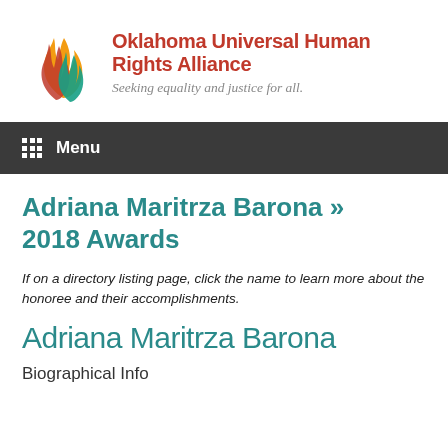[Figure (logo): Oklahoma Universal Human Rights Alliance logo: flame icon in orange, red and teal colors, with organization name in bold red and italic tagline 'Seeking equality and justice for all.']
Menu
Adriana Maritrza Barona » 2018 Awards
If on a directory listing page, click the name to learn more about the honoree and their accomplishments.
Adriana Maritrza Barona
Biographical Info